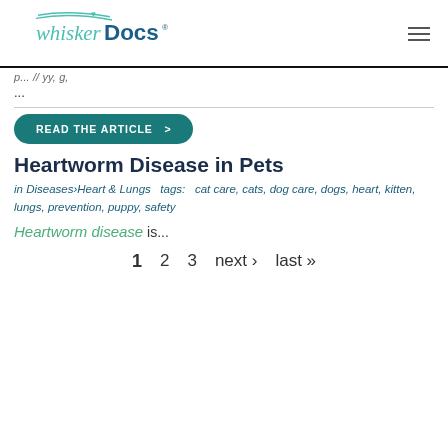whiskerDocs
...
READ THE ARTICLE  >
Heartworm Disease in Pets
in Diseases›Heart & Lungs  tags:  cat care, cats, dog care, dogs, heart, kitten, lungs, prevention, puppy, safety
Heartworm disease is...
1  2  3  next ›  last »